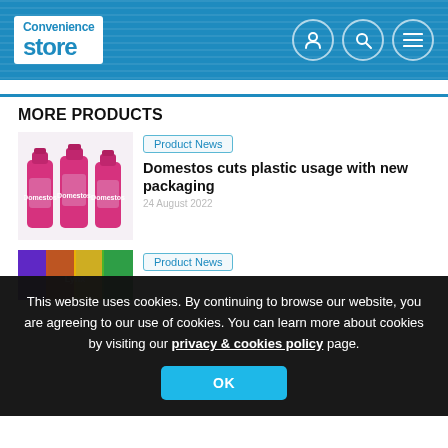Convenience store
MORE PRODUCTS
[Figure (photo): Three pink Domestos bottles]
Product News
Domestos cuts plastic usage with new packaging
This website uses cookies. By continuing to browse our website, you are agreeing to our use of cookies. You can learn more about cookies by visiting our privacy & cookies policy page.
OK
[Figure (photo): Colorful product packaging image]
Product News